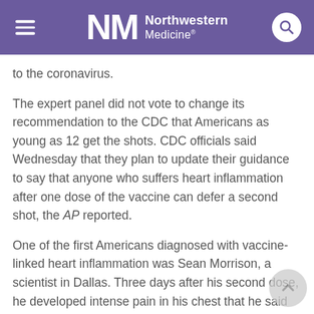Northwestern Medicine
to the coronavirus.
The expert panel did not vote to change its recommendation to the CDC that Americans as young as 12 get the shots. CDC officials said Wednesday that they plan to update their guidance to say that anyone who suffers heart inflammation after one dose of the vaccine can defer a second shot, the AP reported.
One of the first Americans diagnosed with vaccine-linked heart inflammation was Sean Morrison, a scientist in Dallas. Three days after his second dose, he developed intense pain in his chest that he said felt like a heart attack, the AP reported. He was hospitalized for four days